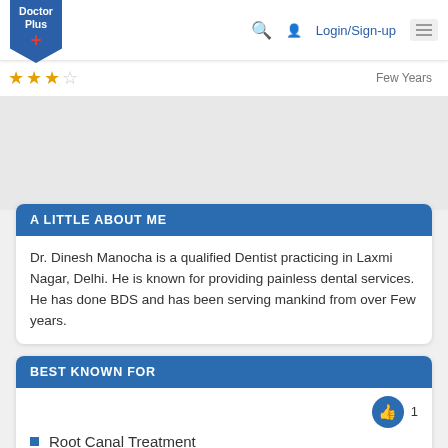Doctor Plus
★★★☆☆  Few Years
A LITTLE ABOUT ME
Dr. Dinesh Manocha is a qualified Dentist practicing in Laxmi Nagar, Delhi. He is known for providing painless dental services. He has done BDS and has been serving mankind from over Few years.
BEST KNOWN FOR
Root Canal Treatment
Dental Implants
Crown and Bridges